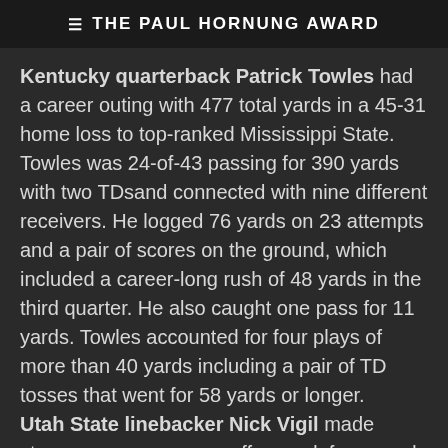≡ THE PAUL HORNUNG AWARD
Kentucky quarterback Patrick Towles had a career outing with 477 total yards in a 45-31 home loss to top-ranked Mississippi State. Towles was 24-of-43 passing for 390 yards with two TDsand connected with nine different receivers. He logged 76 yards on 23 attempts and a pair of scores on the ground, which included a career-long rush of 48 yards in the third quarter. He also caught one pass for 11 yards. Towles accounted for four plays of more than 40 yards including a pair of TD tosses that went for 58 yards or longer.
Utah State linebacker Nick Vigil made strong appearances on offense, defense and special teams in a 34-20 win over UNLV in Logan, Utah. Vigil was on the field for 53 total snaps – 35 snaps on offense, 12 on defense and six on